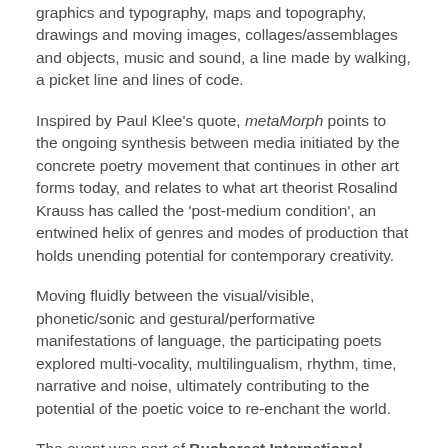graphics and typography, maps and topography, drawings and moving images, collages/assemblages and objects, music and sound, a line made by walking, a picket line and lines of code.
Inspired by Paul Klee's quote, metaMorph points to the ongoing synthesis between media initiated by the concrete poetry movement that continues in other art forms today, and relates to what art theorist Rosalind Krauss has called the 'post-medium condition', an entwined helix of genres and modes of production that holds unending potential for contemporary creativity.
Moving fluidly between the visual/visible, phonetic/sonic and gestural/performative manifestations of language, the participating poets explored multi-vocality, multilingualism, rhythm, time, narrative and noise, ultimately contributing to the potential of the poetic voice to re-enchant the world.
The event was part of Bucharest International Festival of